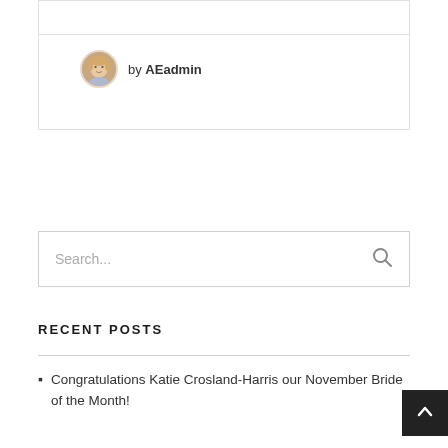[Figure (photo): Author avatar - small circular portrait photo of a woman with light hair]
by AEadmin
Search...
RECENT POSTS
Congratulations Katie Crosland-Harris our November Bride of the Month!